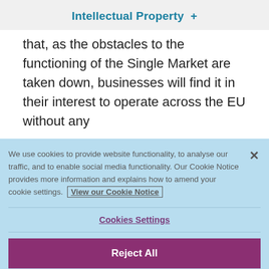Intellectual Property  +
that, as the obstacles to the functioning of the Single Market are taken down, businesses will find it in their interest to operate across the EU without any
We use cookies to provide website functionality, to analyse our traffic, and to enable social media functionality. Our Cookie Notice provides more information and explains how to amend your cookie settings. View our Cookie Notice
Cookies Settings
Reject All
Accept All Cookies